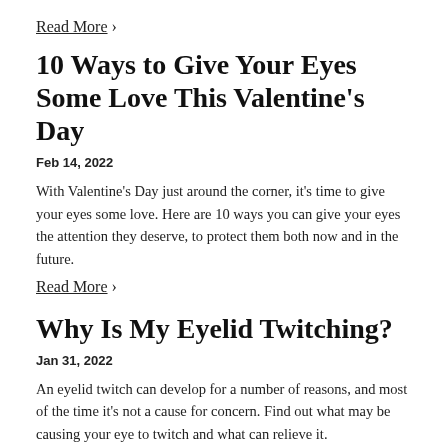Read More ›
10 Ways to Give Your Eyes Some Love This Valentine's Day
Feb 14, 2022
With Valentine's Day just around the corner, it's time to give your eyes some love. Here are 10 ways you can give your eyes the attention they deserve, to protect them both now and in the future.
Read More ›
Why Is My Eyelid Twitching?
Jan 31, 2022
An eyelid twitch can develop for a number of reasons, and most of the time it's not a cause for concern. Find out what may be causing your eye to twitch and what can relieve it.